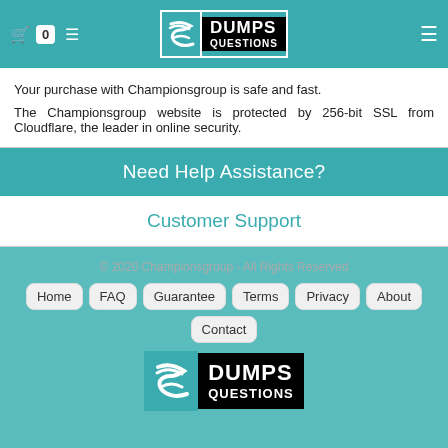Dumps Questions
Your purchase with Championsgroup is safe and fast.
The Championsgroup website is protected by 256-bit SSL from Cloudflare, the leader in online security.
Need Help Assistance?
Customer Support
© 2020 Championsgroup - All Rights Reserved
Home
FAQ
Guarantee
Terms
Privacy
About
Contact
[Figure (logo): Dumps Questions logo with teal S icon and black text background]